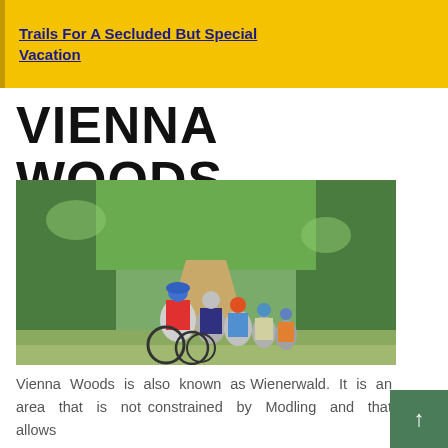Trails For A Secluded But Special Vacation
VIENNA WOODS
[Figure (photo): Group of cyclists riding mountain bikes on a dirt trail through green wooded area, wearing helmets and cycling gear]
Vienna Woods is also known as Wienerwald. It is an area that is not constrained by Modling and that allows